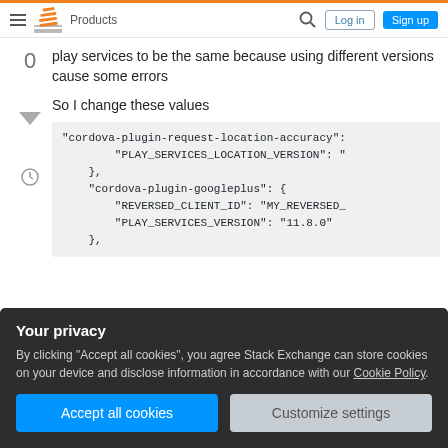= [Stack logo] Products [Search] Log in Sign up
play services to be the same because using different versions cause some errors
So I change these values
[Figure (screenshot): Code block showing JSON config with cordova-plugin-request-location-accuracy PLAY_SERVICES_LOCATION_VERSION and cordova-plugin-googleplus with REVERSED_CLIENT_ID and PLAY_SERVICES_VERSION 11.8.0]
Your privacy
By clicking "Accept all cookies", you agree Stack Exchange can store cookies on your device and disclose information in accordance with our Cookie Policy.
[Accept all cookies] [Customize settings]